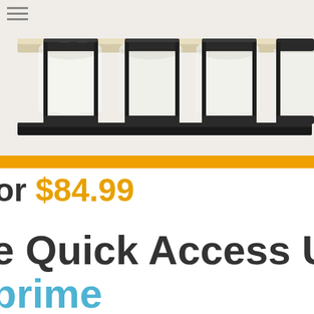[Figure (photo): Product photo showing cable management clips or pipe clamps mounted on a horizontal rod/rail. Four black rectangular frame clips are visible holding cylindrical white tubes or pipes, photographed close-up against a light background. An orange horizontal bar appears at the bottom of the image.]
or $84.99
e Quick Access U
prime